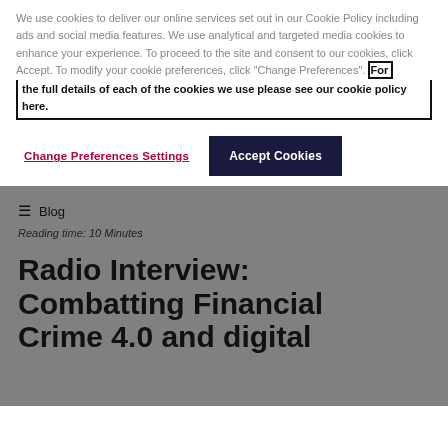We use cookies to deliver our online services set out in our Cookie Policy including ads and social media features. We use analytical and targeted media cookies to enhance your experience. To proceed to the site and consent to our cookies, click Accept. To modify your cookie preferences, click "Change Preferences". For the full details of each of the cookies we use please see our cookie policy here.
Change Preferences Settings
Accept Cookies
Blog
Reading time: 10 Minutes
Radio Interview: Combatting Financial Crime 4.0 and digital